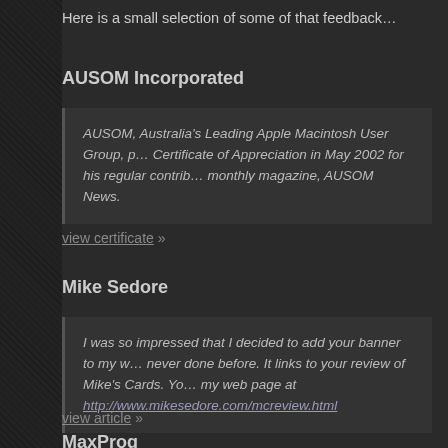Here is a small selection of some of that feedback…
AUSOM Incorporated
AUSOM, Australia's Leading Apple Macintosh User Group, p… Certificate of Appreciation in May 2002 for his regular contrib… monthly magazine, AUSOM News.
view certificate »
Mike Sedore
I was so impressed that I decided to add your banner to my w… never done before. It links to your review of Mike's Cards. Yo… my web page at http://www.mikesedore.com/mcreview.html
view article »
MaxProg